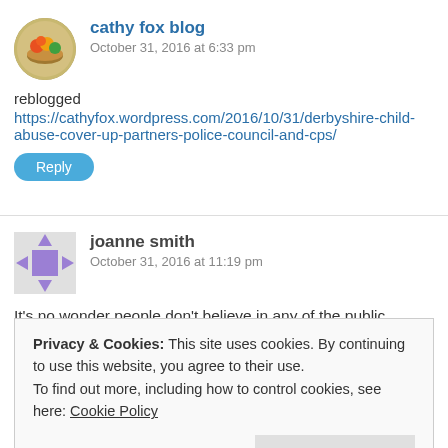[Figure (photo): Circular avatar for cathy fox blog showing colorful objects]
cathy fox blog
October 31, 2016 at 6:33 pm
reblogged
https://cathyfox.wordpress.com/2016/10/31/derbyshire-child-abuse-cover-up-partners-police-council-and-cps/
Reply
[Figure (illustration): Identicon avatar for joanne smith — geometric purple square pattern on grey background]
joanne smith
October 31, 2016 at 11:19 pm
It's no wonder people don't believe in any of the public services or the justice system because they're all corrupted. There's no having faith in these people. They are supposed to help others.
Privacy & Cookies: This site uses cookies. By continuing to use this website, you agree to their use.
To find out more, including how to control cookies, see here: Cookie Policy
Close and accept